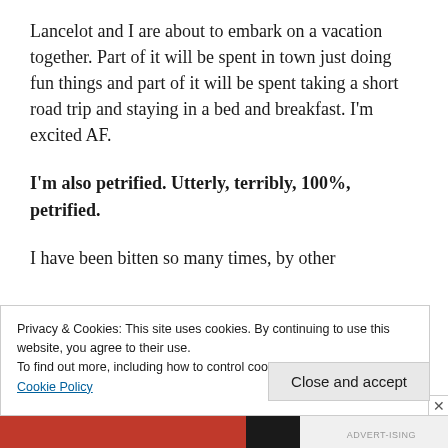Lancelot and I are about to embark on a vacation together. Part of it will be spent in town just doing fun things and part of it will be spent taking a short road trip and staying in a bed and breakfast. I'm excited AF.
I'm also petrified. Utterly, terribly, 100%, petrified.
I have been bitten so many times, by other
Privacy & Cookies: This site uses cookies. By continuing to use this website, you agree to their use.
To find out more, including how to control cookies, see here:
Cookie Policy
Close and accept